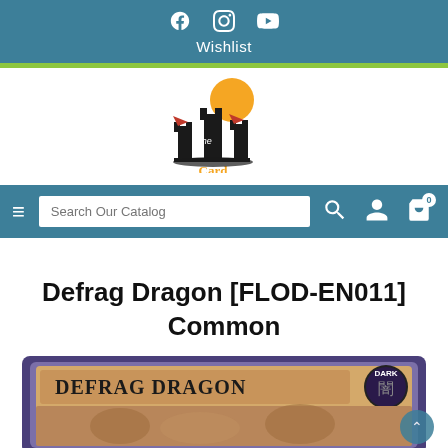Wishlist
[Figure (logo): The Card House logo — castle silhouette with yellow sun and red accents, with text 'The Card House']
Search Our Catalog
Defrag Dragon [FLOD-EN011] Common
[Figure (photo): Yu-Gi-Oh card image showing 'DEFRAG DRAGON' with tan/orange card name banner, DARK attribute symbol with Japanese kanji, purple border frame]